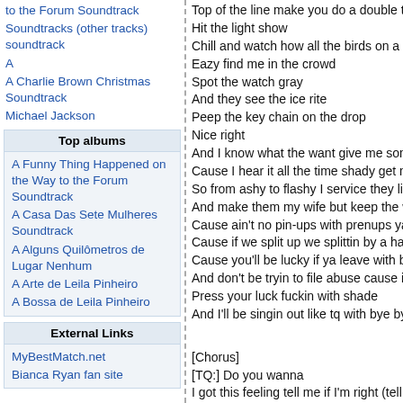to the Forum Soundtrack
Soundtracks (other tracks) soundtrack
A
A Charlie Brown Christmas Soundtrack
Michael Jackson
Top albums
A Funny Thing Happened on the Way to the Forum Soundtrack
A Casa Das Sete Mulheres Soundtrack
A Alguns Quilômetros de Lugar Nenhum
A Arte de Leila Pinheiro
A Bossa de Leila Pinheiro
External Links
MyBestMatch.net
Bianca Ryan fan site
Top of the line make you do a double take h
Hit the light show
Chill and watch how all the birds on a prowl
Eazy find me in the crowd
Spot the watch gray
And they see the ice rite
Peep the key chain on the drop
Nice right
And I know what the want give me some ge
Cause I hear it all the time shady get me ge
So from ashy to flashy I service they life
And make them my wife but keep the warra
Cause ain't no pin-ups with prenups ya keep
Cause if we split up we splittin by a half of th
Cause you'll be lucky if ya leave with both o
And don't be tryin to file abuse cause i'm co
Press your luck fuckin with shade
And I'll be singin out like tq with bye bye bab

[Chorus]
[TQ:] Do you wanna
I got this feeling tell me if I'm right (tell me if
Are you the one I'm gonna take home tonigh
If you wanna bounce rock roll with this
I gotta warn you miss we like gangsta shit (g
If ya ain't with it then stay here trick
Cause your homegirl is tight
Tell me do you wanna